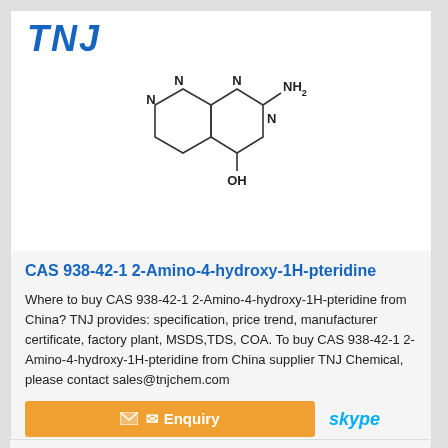[Figure (logo): TNJ company logo in bold italic blue text]
[Figure (schematic): Chemical structure of 2-Amino-4-hydroxy-1H-pteridine (CAS 938-42-1), showing a bicyclic ring system with N atoms, an NH2 group at position 2, and an OH group at position 4]
CAS 938-42-1 2-Amino-4-hydroxy-1H-pteridine
Where to buy CAS 938-42-1 2-Amino-4-hydroxy-1H-pteridine from China? TNJ provides: specification, price trend, manufacturer certificate, factory plant, MSDS,TDS, COA. To buy CAS 938-42-1 2-Amino-4-hydroxy-1H-pteridine from China supplier TNJ Chemical, please contact sales@tnjchem.com
[Figure (other): Enquiry button with envelope icon and Skype logo]